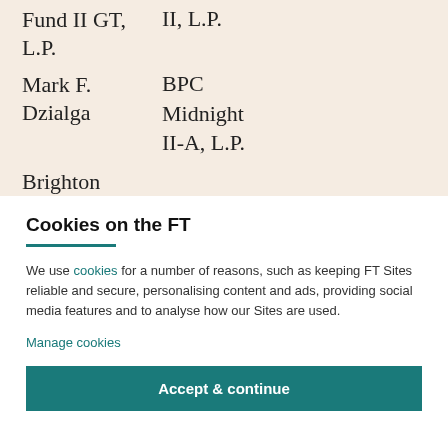|  |  |
| --- | --- |
| Fund II GT, L.P. | II, L.P. |
| Mark F. Dzialga | BPC Midnight II-A, L.P. |
| Brighton |  |
Cookies on the FT
We use cookies for a number of reasons, such as keeping FT Sites reliable and secure, personalising content and ads, providing social media features and to analyse how our Sites are used.
Manage cookies
Accept & continue